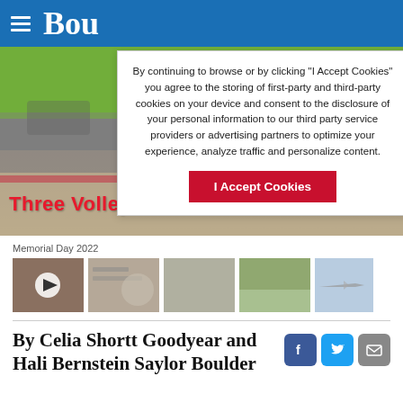Bou [newspaper header]
By continuing to browse or by clicking “I Accept Cookies” you agree to the storing of first-party and third-party cookies on your device and consent to the disclosure of your personal information to our third party service providers or advertising partners to optimize your experience, analyze traffic and personalize content.
I Accept Cookies
[Figure (photo): Outdoor parking lot scene with vehicles and people standing, trees in background. Overlay text reads 'Three Volley Salute' in red.]
Three Volley Salute
Memorial Day 2022
[Figure (photo): Five thumbnail images related to Memorial Day 2022 coverage, first has a play button overlay.]
By Celia Shortt Goodyear and Hali Bernstein Saylor Boulder